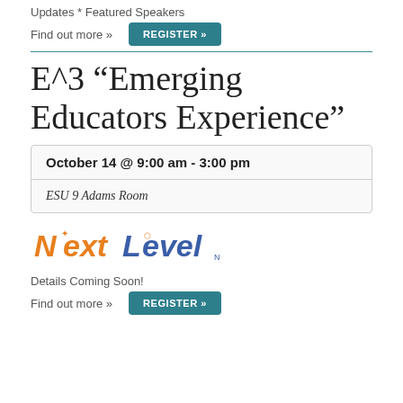Updates * Featured Speakers
Find out more »
REGISTER »
E^3 “Emerging Educators Experience”
| October 14 @ 9:00 am - 3:00 pm |
| ESU 9 Adams Room |
[Figure (logo): Next Level logo with stylized orange and blue text]
Details Coming Soon!
Find out more »
REGISTER »